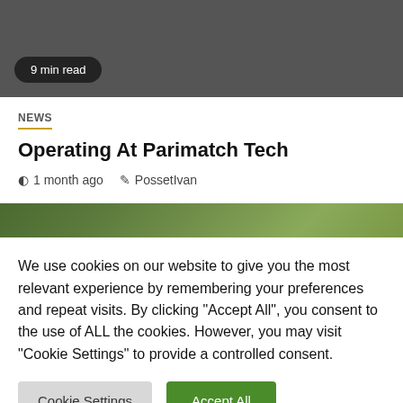[Figure (photo): Dark grey image area at the top of the page with a '9 min read' badge overlay]
9 min read
NEWS
Operating At Parimatch Tech
1 month ago   PossetIvan
[Figure (photo): Green foliage / nature background image strip]
We use cookies on our website to give you the most relevant experience by remembering your preferences and repeat visits. By clicking "Accept All", you consent to the use of ALL the cookies. However, you may visit "Cookie Settings" to provide a controlled consent.